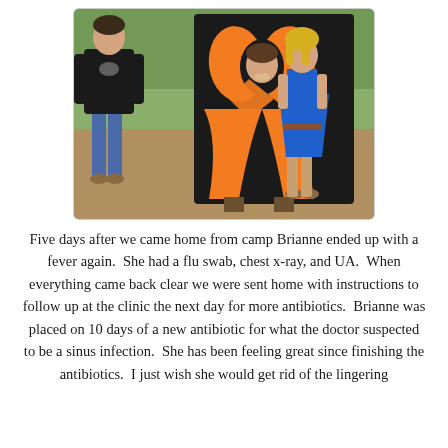[Figure (photo): Photo of two children standing outdoors near a large black board painted with an orange awareness ribbon. One child (a boy/teen in a black graphic t-shirt and jeans) stands to the left. Another child (a girl in a bright blue dress with cowboy boots) stands to the right of the board. A third small child peeks through the hole of the ribbon cutout. The ground is dry grass and the background has green trees.]
Five days after we came home from camp Brianne ended up with a fever again.  She had a flu swab, chest x-ray, and UA.  When everything came back clear we were sent home with instructions to follow up at the clinic the next day for more antibiotics.  Brianne was placed on 10 days of a new antibiotic for what the doctor suspected to be a sinus infection.  She has been feeling great since finishing the antibiotics.  I just wish she would get rid of the lingering